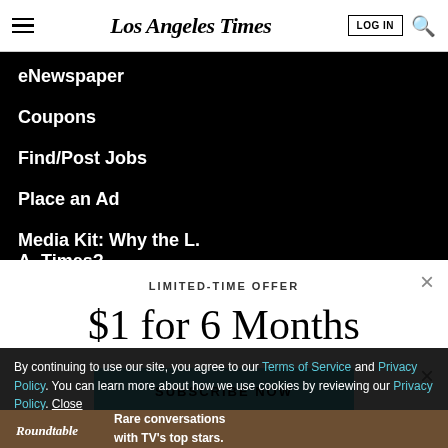Los Angeles Times
eNewspaper
Coupons
Find/Post Jobs
Place an Ad
Media Kit: Why the L.A. Times?
LIMITED-TIME OFFER
$1 for 6 Months
SUBSCRIBE NOW
By continuing to use our site, you agree to our Terms of Service and Privacy Policy. You can learn more about how we use cookies by reviewing our Privacy Policy. Close